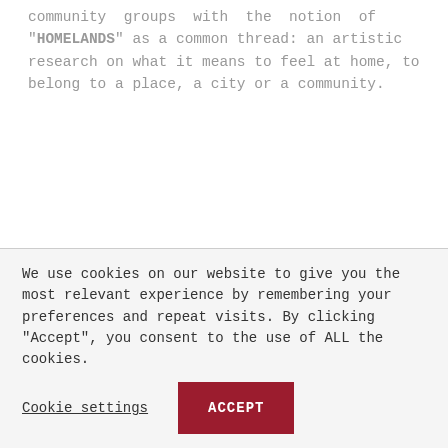community groups with the notion of "HOMELANDS" as a common thread: an artistic research on what it means to feel at home, to belong to a place, a city or a community.
We use cookies on our website to give you the most relevant experience by remembering your preferences and repeat visits. By clicking "Accept", you consent to the use of ALL the cookies.
Cookie settings    ACCEPT